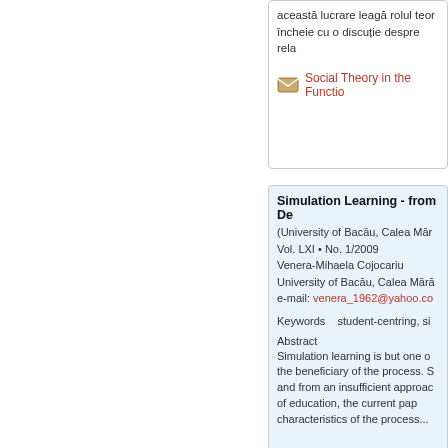această lucrare leagă rolul teoriei... încheie cu o discuție despre rela...
Social Theory in the Functio...
Simulation Learning - from De...
(University of Bacău, Calea Mărā...
Vol. LXI • No. 1/2009
Venera-Mihaela Cojocariu
University of Bacău, Calea Mārā...
e-mail: venera_1962@yahoo.co...
Keywords   student-centring, si...
Abstract
Simulation learning is but one o... the beneficiary of the process. S... and from an insufficient approac... of education, the current pap... characteristics of the process...